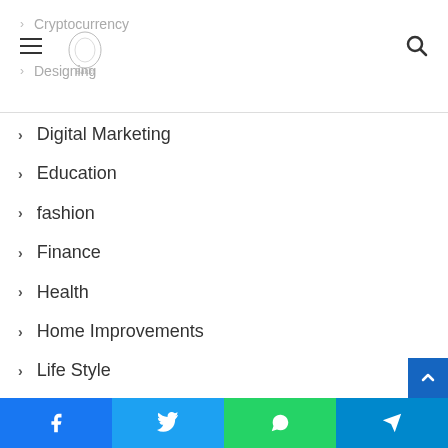Navigation menu with hamburger, logo, and search icon
Cryptocurrency
Designing
Digital Marketing
Education
fashion
Finance
Health
Home Improvements
Life Style
Media
Tour & Travel
Uncategorized
Social share bar: Facebook, Twitter, WhatsApp, Telegram